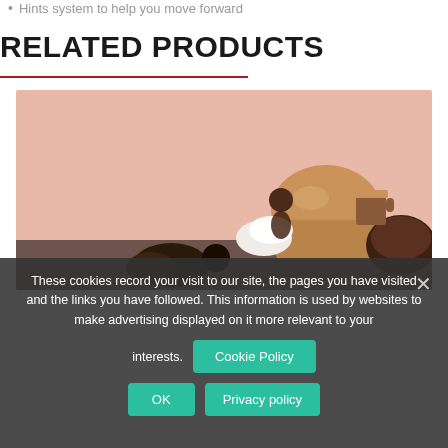Hints system to help you move forward
RELATED PRODUCTS
[Figure (illustration): Product illustration with a peach/salmon background showing baking-themed items including what appears to be bread, coffee, and chocolate treats]
These cookies record your visit to our site, the pages you have visited and the links you have followed. This information is used by websites to make advertising displayed on it more relevant to your interests.